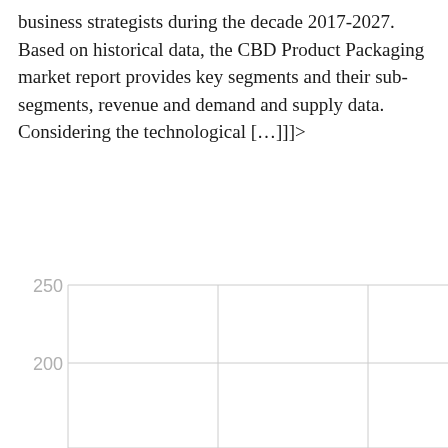business strategists during the decade 2017-2027. Based on historical data, the CBD Product Packaging market report provides key segments and their sub-segments, revenue and demand and supply data. Considering the technological […]]]>
[Figure (continuous-plot): Partial bar or line chart showing y-axis values of 250 and 200 with gridlines visible. Chart is cropped — only the upper-left portion is visible. Two vertical gridlines divide the plot area, and two horizontal gridlines at y=250 and y=200 are shown.]